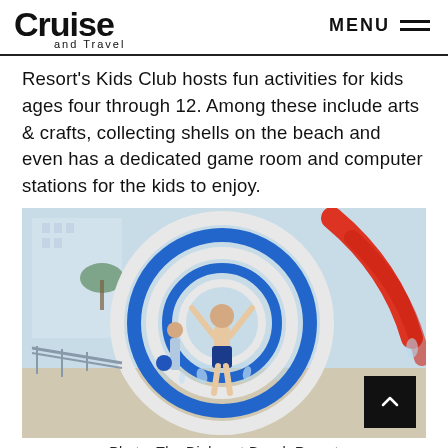Cruise and Travel | MENU
Resort's Kids Club hosts fun activities for kids ages four through 12. Among these include arts & crafts, collecting shells on the beach and even has a dedicated game room and computer stations for the kids to enjoy.
[Figure (photo): Child with arms raised joyfully standing inside concentric blue and white circular water feature at a water park. Another person is walking in the background. Red water slide visible on the right. The Diplomat Beach Resort.]
Photo: The Diplomat Beach Resort